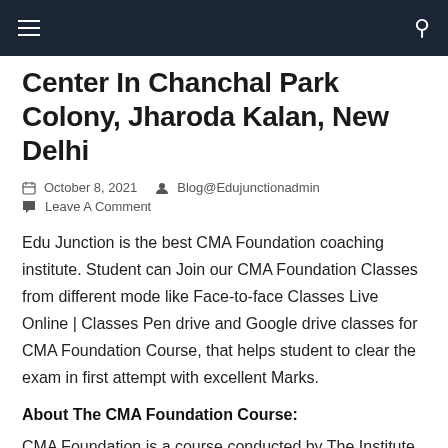≡  [search icon]
Center In Chanchal Park Colony, Jharoda Kalan, New Delhi
October 8, 2021   Blog@Edujunctionadmin
Leave A Comment
Edu Junction is the best CMA Foundation coaching institute. Student can Join our CMA Foundation Classes from different mode like Face-to-face Classes Live Online | Classes Pen drive and Google drive classes for CMA Foundation Course, that helps student to clear the exam in first attempt with excellent Marks.
About The CMA Foundation Course:
CMA Foundation is a course conducted by The Institute of Cost Accountant of India. Students appear for this course after or appearing in class 12th. In CMA Foundation Classes in Delhi Level, we provide all these four subjects. Saurabh sir is the best faculty in